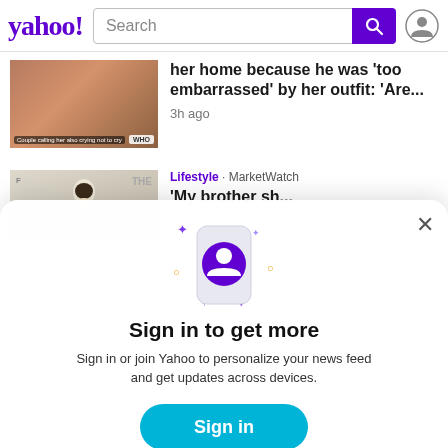yahoo! Search
her home because he was 'too embarrassed' by her outfit: 'Are... 3h ago
Lifestyle · MarketWatch
[Figure (screenshot): Yahoo sign-in modal dialog with illustrated phone icon, sparkles, title 'Sign in to get more', description text, Sign in button and Sign up link]
Sign in to get more
Sign in or join Yahoo to personalize your news feed and get updates across devices.
Sign in
Sign up